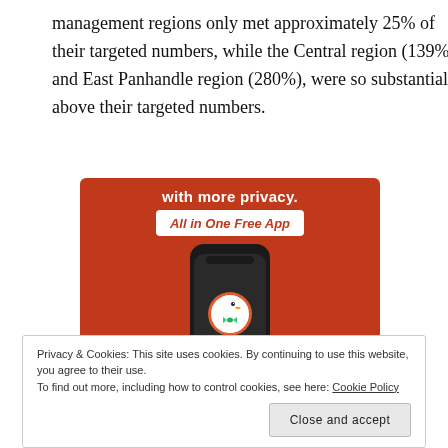management regions only met approximately 25% of their targeted numbers, while the Central region (139%) and East Panhandle region (280%), were so substantially above their targeted numbers.
[Figure (illustration): DuckDuckGo advertisement showing a smartphone with the DuckDuckGo duck logo on an orange background. Text reads 'with more privacy. All in One Free App']
Privacy & Cookies: This site uses cookies. By continuing to use this website, you agree to their use.
To find out more, including how to control cookies, see here: Cookie Policy